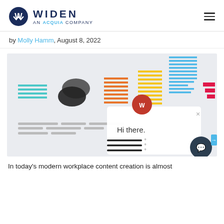[Figure (logo): Widen logo with circular W icon and text 'WIDEN AN ACQUIA COMPANY']
by Molly Hamm, August 8, 2022
[Figure (screenshot): Screenshot showing various brand logos with horizontal line patterns in teal, black, orange, yellow, and blue, with a Widen chat popup overlay saying 'Hi there.']
In today's modern workplace content creation is almost